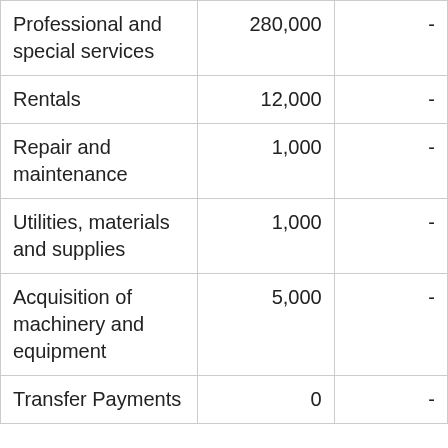| Professional and special services | 280,000 | - |
| Rentals | 12,000 | - |
| Repair and maintenance | 1,000 | - |
| Utilities, materials and supplies | 1,000 | - |
| Acquisition of machinery and equipment | 5,000 | - |
| Transfer Payments | 0 | - |